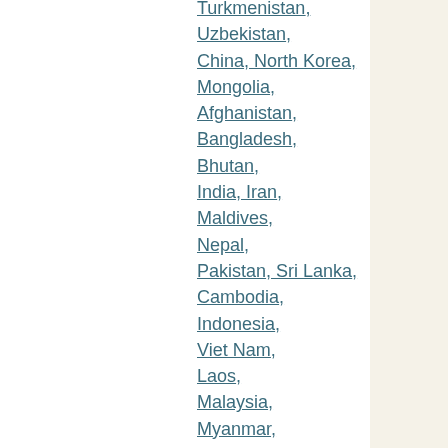Turkmenistan,
Uzbekistan,
China, North Korea,
Mongolia,
Afghanistan,
Bangladesh,
Bhutan,
India, Iran,
Maldives,
Nepal,
Pakistan, Sri Lanka,
Cambodia,
Indonesia,
Viet Nam,
Laos,
Malaysia,
Myanmar,
Thailand,
Timor-Leste,
Philippines,